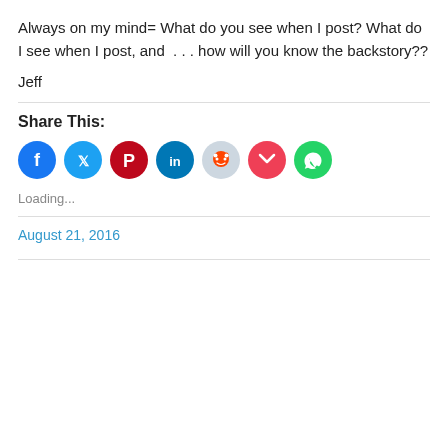Always on my mind= What do you see when I post? What do I see when I post, and  . . . how will you know the backstory??
Jeff
Share This:
[Figure (other): Row of social media share buttons: Facebook, Twitter, Pinterest, LinkedIn, Reddit, Pocket, WhatsApp]
Loading...
August 21, 2016